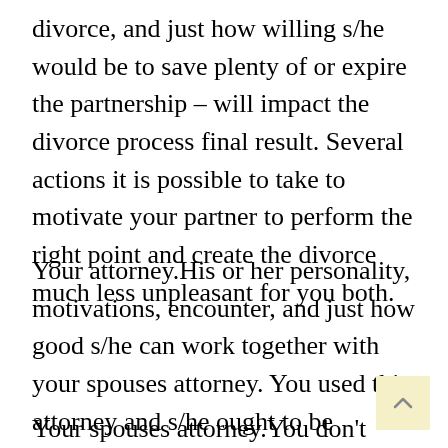divorce, and just how willing s/he would be to save plenty of or expire the partnership – will impact the divorce process final result. Several actions it is possible to take to motivate your partner to perform the right point and create the divorce much less unpleasant for you both.
Your attorney.His or her personality, motivations, encounter, and just how good s/he can work together with your spouses attorney. You used this attorney and s/he ought to be representing your better interests.
Your spouses attorney.You don't have any